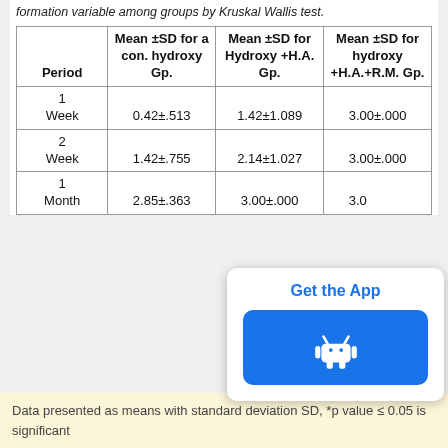formation variable among groups by Kruskal Wallis test.
| Period | Mean ±SD for a con. hydroxy Gp. | Mean ±SD for Hydroxy +H.A. Gp. | Mean ±SD for hydroxy +H.A.+R.M. Gp. |
| --- | --- | --- | --- |
| 1 Week | 0.42±.513 | 1.42±1.089 | 3.00±.000 |
| 2 Week | 1.42±.755 | 2.14±1.027 | 3.00±.000 |
| 1 Month | 2.85±.363 | 3.00±.000 | 3.00±.000 |
Data presented as means with standard deviation SD, *p value ≤ 0.05 is significant